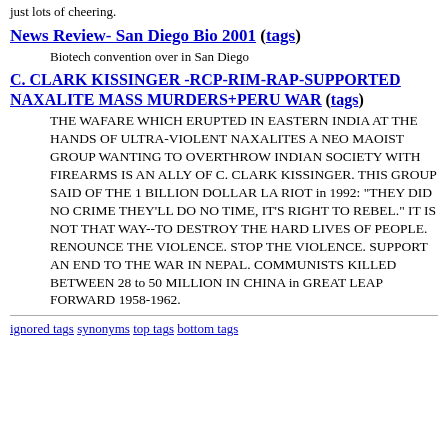just lots of cheering.
News Review- San Diego Bio 2001 (tags)
Biotech convention over in San Diego
C. CLARK KISSINGER -RCP-RIM-RAP-SUPPORTED NAXALITE MASS MURDERS+PERU WAR (tags)
THE WAFARE WHICH ERUPTED IN EASTERN INDIA AT THE HANDS OF ULTRA-VIOLENT NAXALITES A NEO MAOIST GROUP WANTING TO OVERTHROW INDIAN SOCIETY WITH FIREARMS IS AN ALLY OF C. CLARK KISSINGER. THIS GROUP SAID OF THE 1 BILLION DOLLAR LA RIOT in 1992: "THEY DID NO CRIME THEY'LL DO NO TIME, IT'S RIGHT TO REBEL." IT IS NOT THAT WAY--TO DESTROY THE HARD LIVES OF PEOPLE. RENOUNCE THE VIOLENCE. STOP THE VIOLENCE. SUPPORT AN END TO THE WAR IN NEPAL. COMMUNISTS KILLED BETWEEN 28 to 50 MILLION IN CHINA in GREAT LEAP FORWARD 1958-1962.
ignored tags  synonyms  top tags  bottom tags